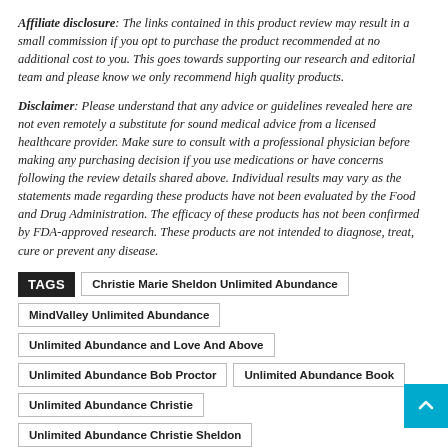Affiliate disclosure: The links contained in this product review may result in a small commission if you opt to purchase the product recommended at no additional cost to you. This goes towards supporting our research and editorial team and please know we only recommend high quality products.
Disclaimer: Please understand that any advice or guidelines revealed here are not even remotely a substitute for sound medical advice from a licensed healthcare provider. Make sure to consult with a professional physician before making any purchasing decision if you use medications or have concerns following the review details shared above. Individual results may vary as the statements made regarding these products have not been evaluated by the Food and Drug Administration. The efficacy of these products has not been confirmed by FDA-approved research. These products are not intended to diagnose, treat, cure or prevent any disease.
TAGS  Christie Marie Sheldon Unlimited Abundance  MindValley Unlimited Abundance  Unlimited Abundance and Love And Above  Unlimited Abundance Bob Proctor  Unlimited Abundance Book  Unlimited Abundance Christie  Unlimited Abundance Christie Sheldon  Unlimited Abundance Course  Unlimited Abundance Free